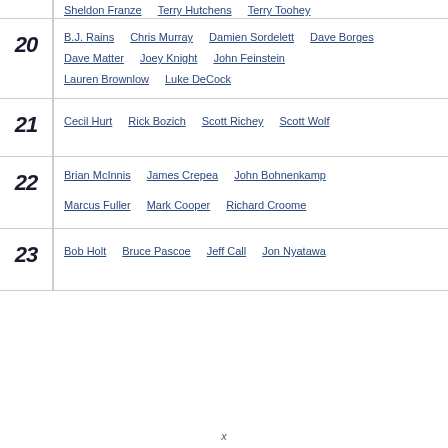20: B.J. Rains, Chris Murray, Damien Sordelett, Dave Borges, Dave Matter, Joey Knight, John Feinstein, Lauren Brownlow, Luke DeCock
21: Cecil Hurt, Rick Bozich, Scott Richey, Scott Wolf
22: Brian McInnis, James Crepea, John Bohnenkamp, Marcus Fuller, Mark Cooper, Richard Croome
23: Bob Holt, Bruce Pascoe, Jeff Call, Jon Nyatawa
x